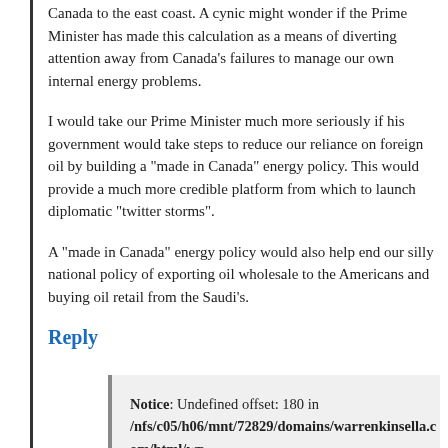Canada to the east coast. A cynic might wonder if the Prime Minister has made this calculation as a means of diverting attention away from Canada’s failures to manage our own internal energy problems.
I would take our Prime Minister much more seriously if his government would take steps to reduce our reliance on foreign oil by building a “made in Canada” energy policy. This would provide a much more credible platform from which to launch diplomatic “twitter storms”.
A “made in Canada” energy policy would also help end our silly national policy of exporting oil wholesale to the Americans and buying oil retail from the Saudi’s.
Reply
Notice: Undefined offset: 180 in /nfs/c05/h06/mnt/72829/domains/warrenkinsella.com/html/wp-content/themes/warroom/functions.php on line 314